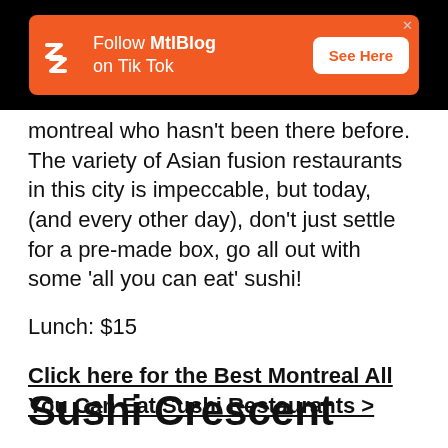[Figure (other): Orange MtlBlog advertisement banner on black background: 'Follow MtlBlog on Tik Tok' with See Here button]
...montreal who hasn't been there before. The variety of Asian fusion restaurants in this city is impeccable, but today, (and every other day), don't just settle for a pre-made box, go all out with some 'all you can eat' sushi!
Lunch: $15
Click here for the Best Montreal All You Can Eat Sushi Restaurants >
Sushi Crescent